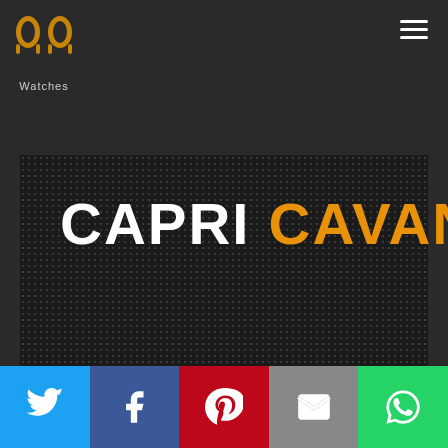[Figure (logo): PP Watches logo - two stylized headphone/mushroom shapes in orange/gold on dark background with 'Watches' text below]
CAPRI CAVANNI
[Figure (infographic): Social sharing bar with Twitter, Facebook, Pinterest, Email, and WhatsApp buttons]